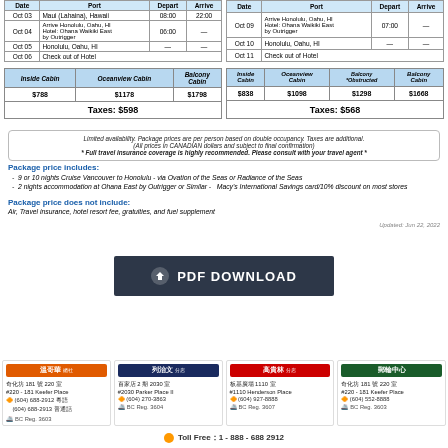| Date | Port | Depart | Arrive |
| --- | --- | --- | --- |
| Oct 03 | Maui (Lahaina), Hawaii | 08:00 | 22:00 |
| Oct 04 | Arrive Honolulu, Oahu, HI Hotel: Ohana Waikiki East by Outrigger | 06:00 | — |
| Oct 05 | Honolulu, Oahu, HI | — | — |
| Oct 06 | Check out of Hotel |  |  |
| Date | Port | Depart | Arrive |
| --- | --- | --- | --- |
| Oct 09 | Arrive Honolulu, Oahu, HI Hotel: Ohana Waikiki East by Outrigger | 07:00 | — |
| Oct 10 | Honolulu, Oahu, HI | — | — |
| Oct 11 | Check out of Hotel |  |  |
| Inside Cabin | Oceanview Cabin | Balcony Cabin |
| --- | --- | --- |
| $788 | $1178 | $1798 |
|  | Taxes: $598 |  |
| Inside Cabin | Oceanview Cabin | Balcony *Obstructed | Balcony Cabin |
| --- | --- | --- | --- |
| $838 | $1098 | $1298 | $1668 |
|  |  | Taxes: $568 |  |
Limited availability. Package prices are per person based on double occupancy. Taxes are additional. (All prices in CANADIAN dollars and subject to final confirmation) * Full travel insurance coverage is highly recommended. Please consult with your travel agent *
Package price includes:
9 or 10 nights Cruise Vancouver to Honolulu - via Ovation of the Seas or Radiance of the Seas
2 nights accommodation at Ohana East by Outrigger or Similar - Macy's International Savings card/10% discount on most stores
Package price does not include:
Air, Travel insurance, hotel resort fee, gratuities, and fuel supplement
Updated: Jun 22, 2022
[Figure (other): PDF Download button]
| 温哥華 | 列治文 | 高貴林 | 郵輪中心 |
| --- | --- | --- | --- |
| 奇化坊 181 號 220 室
#220 - 181 Keefer Place
(604) 688-2912 粵語
(604) 688-2913 普通話
BC Reg. 3603 | 百家店 2 期 2030 室
#2030 Parker Place II
(604) 270-3863
BC Reg. 3604 | 板基廣場 1110 室
#1110 Henderson Place
(604) 927-8888
BC Reg. 3607 | 奇化坊 181 號 220 室
#220 - 181 Keefer Place
(604) 552-8888
BC Reg. 3603 |
Toll Free：1 - 888 - 688  2912